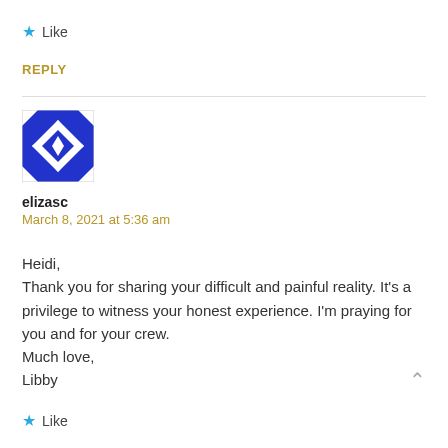★ Like
REPLY
[Figure (illustration): Blue and white geometric quilt-pattern avatar image for user elizasc]
elizasc
March 8, 2021 at 5:36 am
Heidi,
Thank you for sharing your difficult and painful reality. It's a privilege to witness your honest experience. I'm praying for you and for your crew.
Much love,
Libby
★ Like